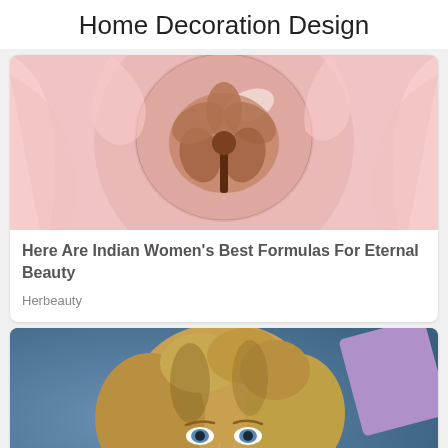Home Decoration Design
[Figure (photo): Close-up photo of a flower preserved inside a clear glass/resin sphere, wrapped in pink tissue paper]
Here Are Indian Women's Best Formulas For Eternal Beauty
Herbeauty
[Figure (photo): Portrait photo of a smiling young woman with curly blonde hair and blue eyes against a blue background]